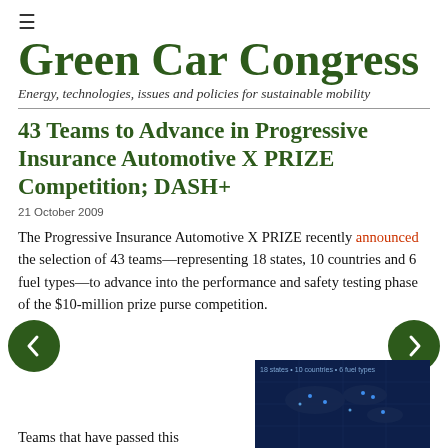≡
Green Car Congress
Energy, technologies, issues and policies for sustainable mobility
43 Teams to Advance in Progressive Insurance Automotive X PRIZE Competition; DASH+
21 October 2009
The Progressive Insurance Automotive X PRIZE recently announced the selection of 43 teams—representing 18 states, 10 countries and 6 fuel types—to advance into the performance and safety testing phase of the $10-million prize purse competition.
Teams that have passed this
[Figure (photo): Dark blue image showing a map or visualization related to the competition teams/countries]